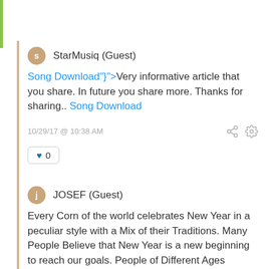StarMusiq (Guest)
Song Download"}">Very informative article that you share. In future you share more. Thanks for sharing.. Song Download
10/29/17 @ 10:38 AM
0
JOSEF (Guest)
Every Corn of the world celebrates New Year in a peculiar style with a Mix of their Traditions. Many People Believe that New Year is a new beginning to reach our goals. People of Different Ages celebrate this new day in the fresh year with great